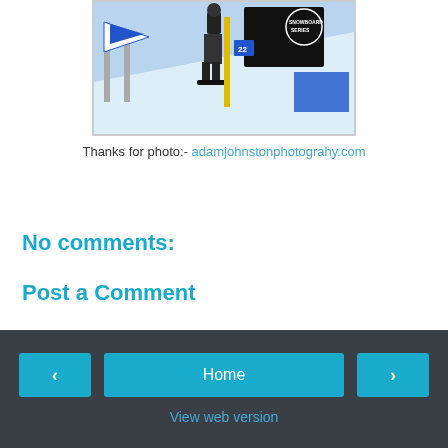[Figure (photo): A snowboarder standing at the top of a slope with snowboard series banners and flags visible against a blue sky and snow-covered ground.]
Thanks for photo:- adamjohnstonphotograhy.com
No comments:
Post a Comment
< Home > View web version